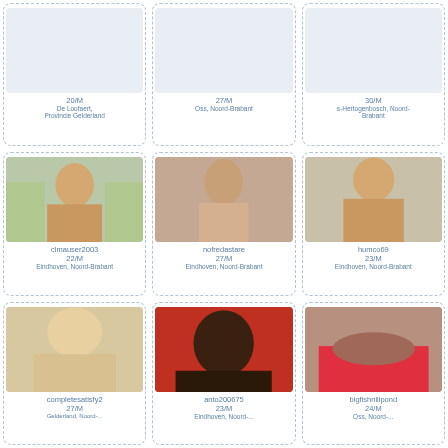20/M
De Loofaert, Provincie Gelderland
27/M
Oss, Noord-Brabant
30/M
s-Hertogenbosch, Noord-Brabant
[Figure (photo): Profile photo of clmauser2003]
clmauser2003
22/M
Eindhoven, Noord-Brabant
[Figure (photo): Profile photo of nofredastare]
nofredastare
27/M
Eindhoven, Noord-Brabant
[Figure (photo): Profile photo of humco69]
humco69
23/M
Eindhoven, Noord-Brabant
[Figure (photo): Profile photo of completesatisfy2]
completesatisfy2
27/M
[Figure (photo): Profile photo of anto200675]
anto200675
23/M
[Figure (photo): Profile photo of bigfishnlilpond]
bigfishnlilpond
24/M